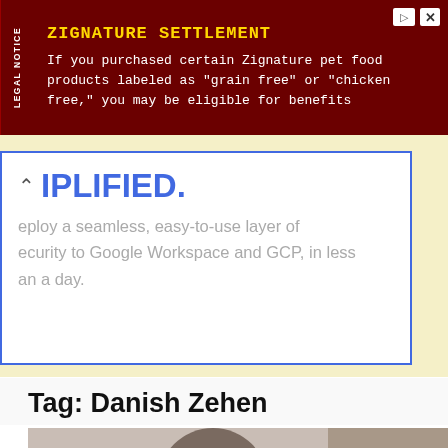[Figure (screenshot): Advertisement banner with dark red background. Legal Notice tab on left side. Title: ZIGNATURE SETTLEMENT in gold. Text: If you purchased certain Zignature pet food products labeled as 'grain free' or 'chicken free,' you may be eligible for benefits. Close and arrow icons top right.]
[Figure (screenshot): Promotional card with blue border on yellow background. Shows text: MPLIFIED. with a chevron icon, and partial text: eploy a seamless, easy-to-use layer of ecurity to Google Workspace and GCP, in less an a day.]
Tag: Danish Zehen
[Figure (photo): Photo of a young woman with dark hair tied up, smiling, wearing a blue outfit, standing against a stone/concrete wall. Red scroll-to-top button in bottom right corner with upward arrow.]